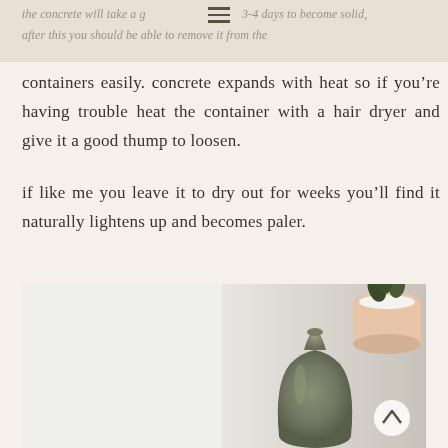the concrete will take a good 3-4 days to become solid, after this you should be able to remove it from the
containers easily. concrete expands with heat so if you're having trouble heat the container with a hair dryer and give it a good thump to loosen.

if like me you leave it to dry out for weeks you'll find it naturally lightens up and becomes paler.
[Figure (photo): Photo of a green ceramic vase and a plant in a peach/terracotta pot on a white surface, with a back-to-top arrow button visible]